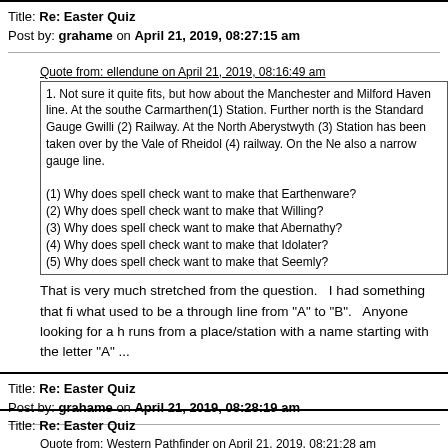Title: Re: Easter Quiz
Post by: grahame on April 21, 2019, 08:27:15 am
Quote from: ellendune on April 21, 2019, 08:16:49 am
1. Not sure it quite fits, but how about the Manchester and Milford Haven line. At the southe Carmarthen(1) Station. Further north is the Standard Gauge Gwilli (2) Railway. At the North Aberystwyth (3) Station has been taken over by the Vale of Rheidol (4) railway. On the Ne also a narrow gauge line.

(1) Why does spell check want to make that Earthenware?
(2) Why does spell check want to make that Willing?
(3) Why does spell check want to make that Abernathy?
(4) Why does spell check want to make that Idolater?
(5) Why does spell check want to make that Seemly?
That is very much stretched from the question.   I had something that fi what used to be a through line from "A" to "B".   Anyone looking for a h runs from a place/station with a name starting with the letter "A" ...
Title: Re: Easter Quiz
Post by: grahame on April 21, 2019, 08:28:19 am
Quote from: Western Pathfinder on April 21, 2019, 08:21:28 am
150261 might have been the last single car unit on the Transwilts .
Still a 150/2 ... 2 car unit.   Sorry.
Title: Re: Easter Quiz